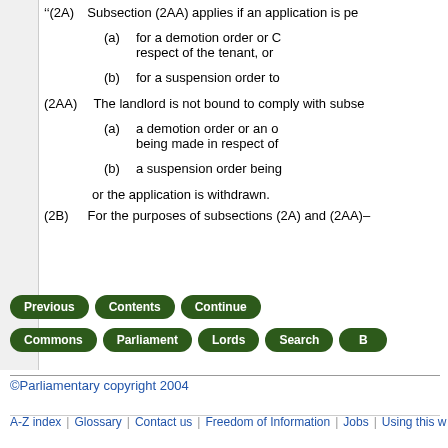"(2A) Subsection (2AA) applies if an application is pe
(a) for a demotion order or C respect of the tenant, or
(b) for a suspension order to
(2AA) The landlord is not bound to comply with subse
(a) a demotion order or an o being made in respect of
(b) a suspension order being
or the application is withdrawn.
(2B) For the purposes of subsections (2A) and (2AA)-
Previous | Contents | Continue
Commons | Parliament | Lords | Search | B
©Parliamentary copyright 2004
A-Z index | Glossary | Contact us | Freedom of Information | Jobs | Using this w